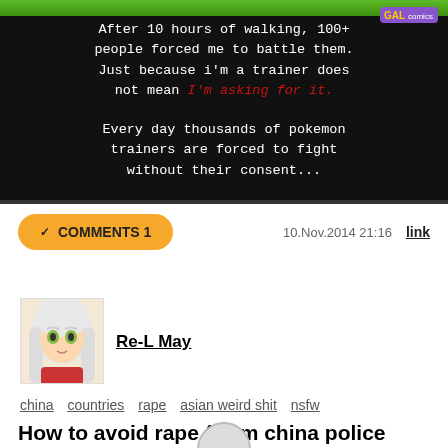[Figure (screenshot): Pokemon game screenshot with black background and white pixel font text reading: After 10 hours of walking, 100+ people forced me to battle them. Just because i'm a trainer does not mean I'm asking for it. (red italic) Every day thousands of pokemon trainers are forced to fight without their consent...]
✓ COMMENTS 1   10.Nov.2014 21:16   link
[Figure (illustration): Anime-style avatar of a character with white/silver hair and yellow/green eyes]
Re-L May
china   countries   rape   asian weird shit   nsfw
How to avoid rape (from china police tips)